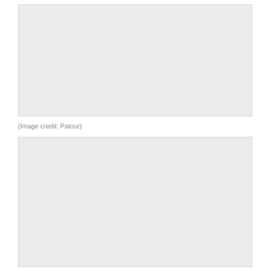[Figure (photo): Large gray placeholder image, top section of page]
(Image credit: Patour)
[Figure (photo): Large gray placeholder image, bottom section of page]